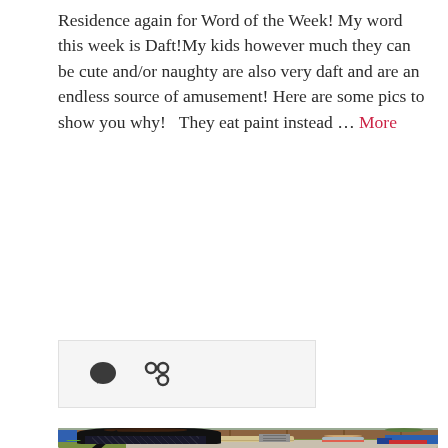Residence again for Word of the Week! My word this week is Daft!My kids however much they can be cute and/or naughty are also very daft and are an endless source of amusement! Here are some pics to show you why!  They eat paint instead … More
[Figure (other): Icons row: speech bubble comment icon and a chain/link share icon, on a light grey background box]
[Figure (photo): A woman seen from behind in black top and patterned leggings stands in a garden, with a young toddler girl in a grey top and pink/coral trousers standing on a patio behind her. A wooden fence, picnic table, stepladder, and blue play equipment are visible in the background.]